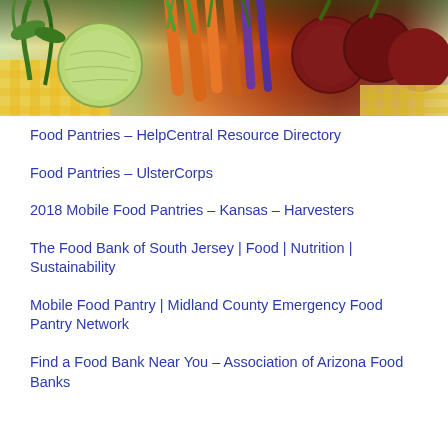[Figure (photo): A basket or display of colorful fresh vegetables including green onions, round light green vegetables, orange carrots, purple carrots or radishes, and dark red beets on a yellow checkered cloth background.]
Food Pantries – HelpCentral Resource Directory
Food Pantries – UlsterCorps
2018 Mobile Food Pantries – Kansas – Harvesters
The Food Bank of South Jersey | Food | Nutrition | Sustainability
Mobile Food Pantry | Midland County Emergency Food Pantry Network
Find a Food Bank Near You – Association of Arizona Food Banks